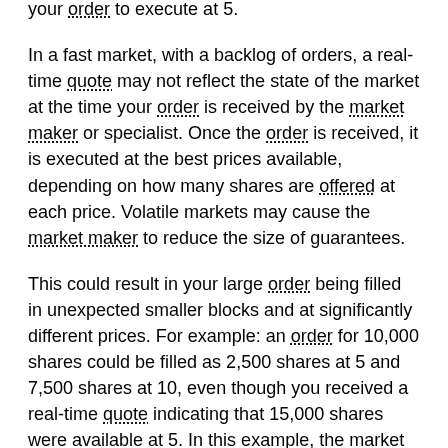your order to execute at 5.
In a fast market, with a backlog of orders, a real-time quote may not reflect the state of the market at the time your order is received by the market maker or specialist. Once the order is received, it is executed at the best prices available, depending on how many shares are offered at each price. Volatile markets may cause the market maker to reduce the size of guarantees.
This could result in your large order being filled in unexpected smaller blocks and at significantly different prices. For example: an order for 10,000 shares could be filled as 2,500 shares at 5 and 7,500 shares at 10, even though you received a real-time quote indicating that 15,000 shares were available at 5. In this example, the market moved significantly from the time the “real-time” market quote was received and when the order was